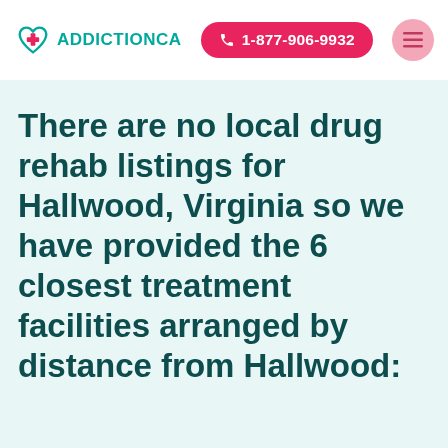ADDICTIONCA  1-877-906-9932
There are no local drug rehab listings for Hallwood, Virginia so we have provided the 6 closest treatment facilities arranged by distance from Hallwood: